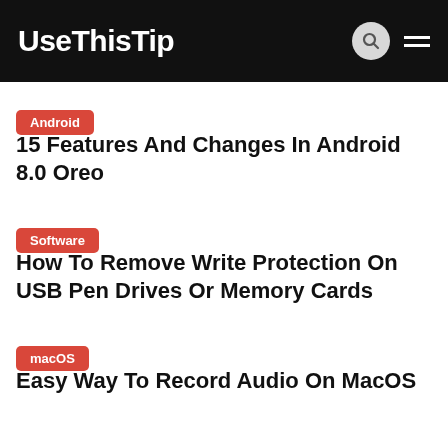UseThisTip
15 Features And Changes In Android 8.0 Oreo
How To Remove Write Protection On USB Pen Drives Or Memory Cards
Easy Way To Record Audio On MacOS